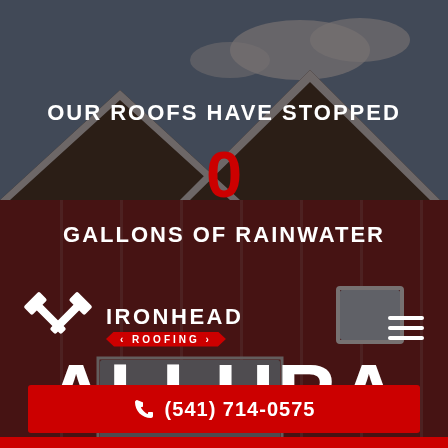[Figure (photo): Background photo of a red barn-style house with white trim and gabled roof against a partly cloudy sky, darkened with overlay]
OUR ROOFS HAVE STOPPED
0
GALLONS OF RAINWATER
[Figure (logo): Ironhead Roofing logo with crossed hammer icons and banner reading ROOFING]
(541) 714-0575
ALLURA